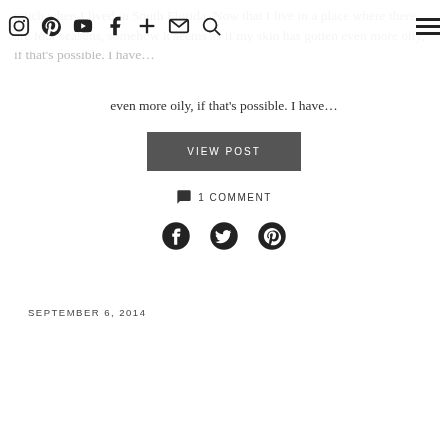Navigation bar with social icons: Instagram, Pinterest, YouTube, Facebook, Plus, Email, Search, and hamburger menu
much when I lived in South Florida. Now that I live in a place where there are four seasons, somehow it seems as if my skin has gotten even more oily, if that's possible. I have…
VIEW POST
1 COMMENT
[Figure (other): Social share icons: Facebook, Twitter, Pinterest]
SEPTEMBER 6, 2014